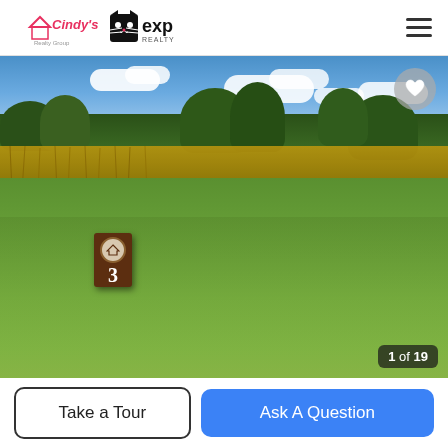[Figure (logo): Cindy's Realty Group logo with house icon and eXp Realty logo]
[Figure (photo): Outdoor photo of a grassy sloped lot with a brown wooden sign showing number 3, tall dry reeds and trees in background, blue sky with white clouds. Photo counter shows 1 of 19.]
Take a Tour
Ask A Question